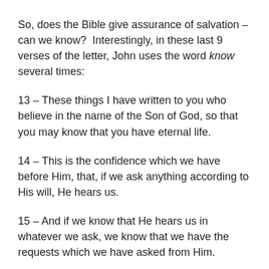So, does the Bible give assurance of salvation – can we know?  Interestingly, in these last 9 verses of the letter, John uses the word know several times:
13 – These things I have written to you who believe in the name of the Son of God, so that you may know that you have eternal life.
14 – This is the confidence which we have before Him, that, if we ask anything according to His will, He hears us.
15 – And if we know that He hears us in whatever we ask, we know that we have the requests which we have asked from Him.
16 – We know that everyone born of God does not...